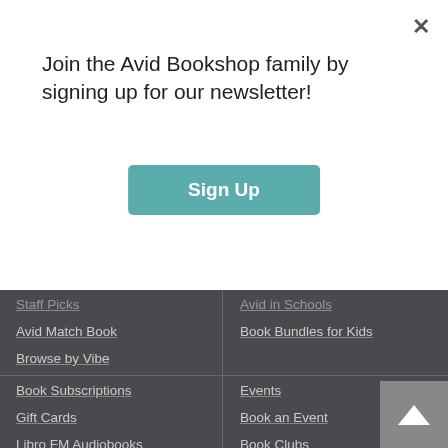Join the Avid Bookshop family by signing up for our newsletter!
Sign Up
Staff Picks
Avid in Schools
Avid Match Book
Book Bundles for Kids
Browse by Vibe
Press
The Southern Bookseller Review
Book Subscriptions
Events
Gift Cards
Book an Event
Libro FM Audiobooks
Book Clubs
Preorder
Preorder - Kids' & YA